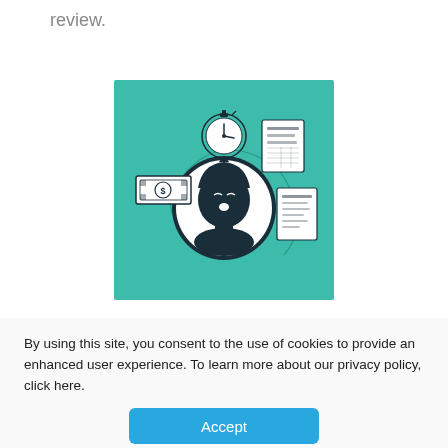review.
[Figure (illustration): Teal/green background illustration showing a person's face in the center circle, surrounded by icons: a stopwatch (top center), a document/form (top right), a receipt/invoice (right), and a dollar bill (left). Curved arc lines connect the icons around the person.]
By using this site, you consent to the use of cookies to provide an enhanced user experience. To learn more about our privacy policy, click here.
Accept